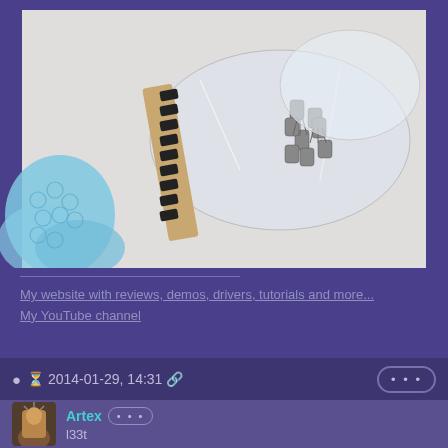[Figure (photo): Overhead view of electronic components (transistors or diodes) in clear plastic bags on a white surface, with blue bubble wrap visible at the lower left. A tan/beige strip with components is also visible.]
My website with reviews, demos, drivers, tutorials and more...
My YouTube channel
2014-01-29, 14:31
Artex
l33t